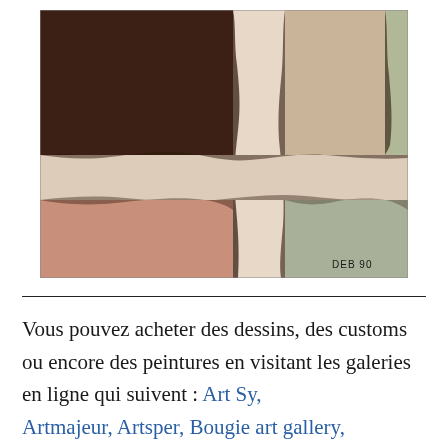[Figure (illustration): Abstract painting with dark brown upper-left block, light beige/cream cross-shaped area in the center, salmon/rose lower-left section, and grey-green lower-right section; painted edges are rough/textured; small signature 'DEB 90' in lower right corner.]
Vous pouvez acheter des dessins, des customs ou encore des peintures en visitant les galeries en ligne qui suivent : Art Sy, Artmajeur, Artsper, Bougie art gallery,